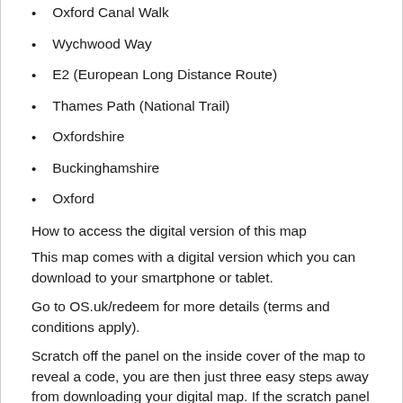Oxford Canal Walk
Wychwood Way
E2 (European Long Distance Route)
Thames Path (National Trail)
Oxfordshire
Buckinghamshire
Oxford
How to access the digital version of this map
This map comes with a digital version which you can download to your smartphone or tablet.
Go to OS.uk/redeem for more details (terms and conditions apply).
Scratch off the panel on the inside cover of the map to reveal a code, you are then just three easy steps away from downloading your digital map. If the scratch panel has already been scratched off or if you have any problems downloading your map, please call the OS Customer